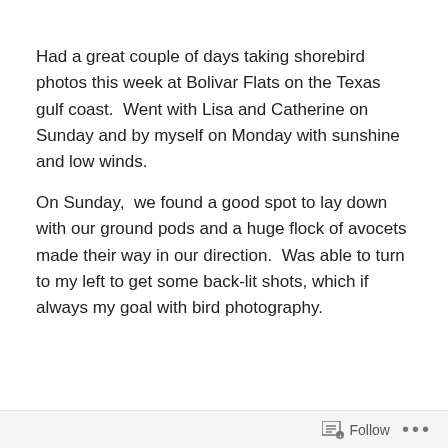Had a great couple of days taking shorebird photos this week at Bolivar Flats on the Texas gulf coast.  Went with Lisa and Catherine on Sunday and by myself on Monday with sunshine and low winds.
On Sunday,  we found a good spot to lay down with our ground pods and a huge flock of avocets made their way in our direction.  Was able to turn to my left to get some back-lit shots, which if always my goal with bird photography.
1/2500 sec @ F8, ISO 800, evaluative metering, +2/3 exposure compensation
[Figure (photo): Bottom portion of a landscape/wildlife photo showing a tan and brown horizon area, partially visible]
Follow ···